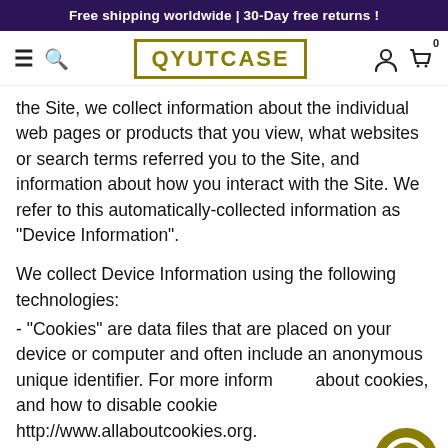Free shipping worldwide | 30-Day free returns !
[Figure (logo): QYUTCASE logo with hamburger menu, search icon, user icon and cart with 0 badge]
the Site, we collect information about the individual web pages or products that you view, what websites or search terms referred you to the Site, and information about how you interact with the Site. We refer to this automatically-collected information as “Device Information”.
We collect Device Information using the following technologies:
- “Cookies” are data files that are placed on your device or computer and often include an anonymous unique identifier. For more information about cookies, and how to disable cookies, visit http://www.allaboutcookies.org.
- “Log files” track actions occurring on the Site, and